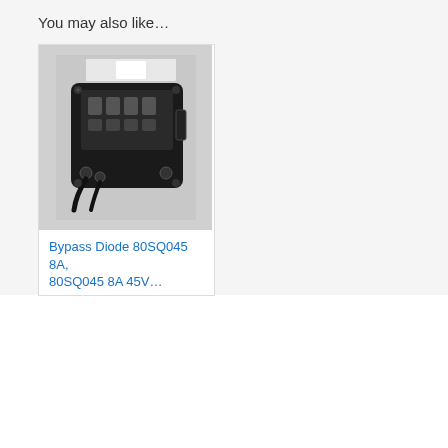You may also like…
[Figure (photo): Photo of a solar panel bypass diode junction box (black plastic enclosure with terminals and wires)]
Bypass Diode 80SQ045 8A, 80SQ045 8A 45V…
We use cookies on our website to give you the most relevant experience by remembering your preferences and repeat visits. By clicking "Accept All", you consent to the use of ALL the cookies. However, you may visit "Cookie Settings" to provide a controlled consent.
Cookie Settings
Accept All